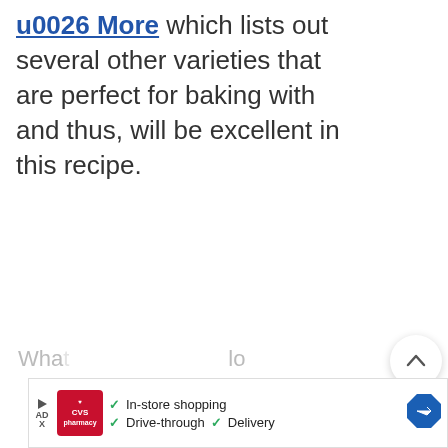u0026 More which lists out several other varieties that are perfect for baking with and thus, will be excellent in this recipe.
[Figure (screenshot): UI voting/action buttons on right side: upvote chevron button (circle), vote count 22, heart/like button (circle), red search button (circle)]
Wha...lo
[Figure (screenshot): CVS pharmacy advertisement banner showing: CVS pharmacy logo (red), In-store shopping checkmark, Drive-through checkmark, Delivery checkmark, blue navigation arrow icon]